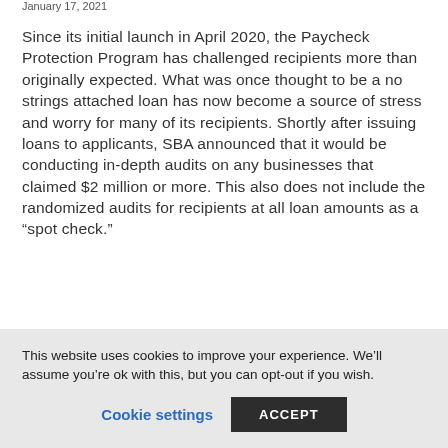January 17, 2021
Since its initial launch in April 2020, the Paycheck Protection Program has challenged recipients more than originally expected. What was once thought to be a no strings attached loan has now become a source of stress and worry for many of its recipients. Shortly after issuing loans to applicants, SBA announced that it would be conducting in-depth audits on any businesses that claimed $2 million or more. This also does not include the randomized audits for recipients at all loan amounts as a “spot check.”
This website uses cookies to improve your experience. We’ll assume you’re ok with this, but you can opt-out if you wish.
Cookie settings
ACCEPT